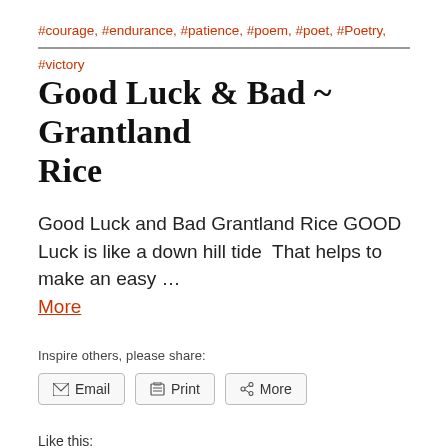#courage, #endurance, #patience, #poem, #poet, #Poetry, #victory
Good Luck & Bad ~ Grantland Rice
Good Luck and Bad Grantland Rice GOOD Luck is like a down hill tide  That helps to make an easy … More
Inspire others, please share:
Email  Print  More
Like this:
Loading...